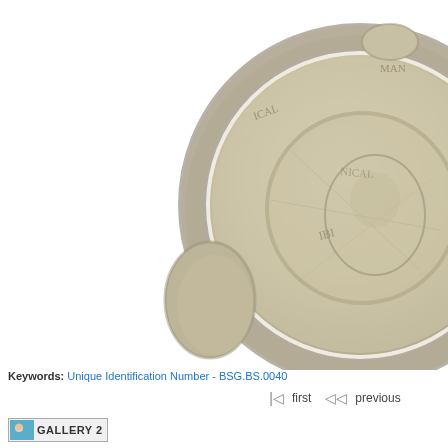[Figure (photo): Close-up photograph of an ancient circular lead seal or bulla, partially cropped. The seal shows a raised circular border with text inscriptions around the rim and possibly a figure or design in the center. The object appears to be made of lead or clay, with a grayish-beige color and weathered texture. The seal is positioned in the upper-right portion of the image against a white background.]
Keywords: Unique Identification Number - BSG.BS.0040...
first   previous
GALLERY 2